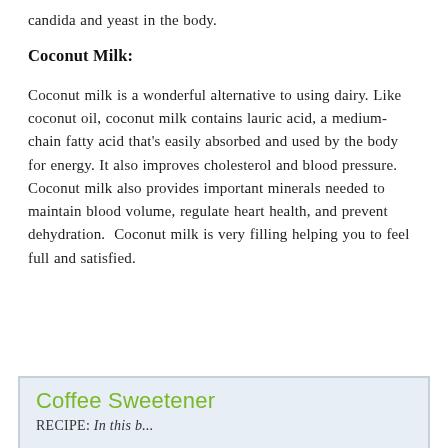candida and yeast in the body.
Coconut Milk:
Coconut milk is a wonderful alternative to using dairy. Like coconut oil, coconut milk contains lauric acid, a medium-chain fatty acid that’s easily absorbed and used by the body for energy. It also improves cholesterol and blood pressure. Coconut milk also provides important minerals needed to maintain blood volume, regulate heart health, and prevent dehydration. Coconut milk is very filling helping you to feel full and satisfied.
Coffee Sweetener